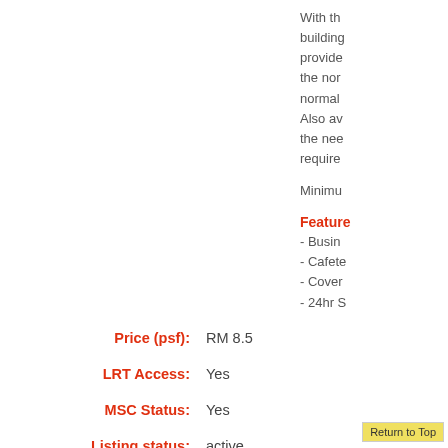With th... building... provide... the nor... normal... Also av... the nee... require...
Minimu...
Feature...
- Busin...
- Cafete...
- Cover...
- 24hr S...
Price (psf): RM 8.5
LRT Access: Yes
MSC Status: Yes
Listing status: active
Property type: comme...